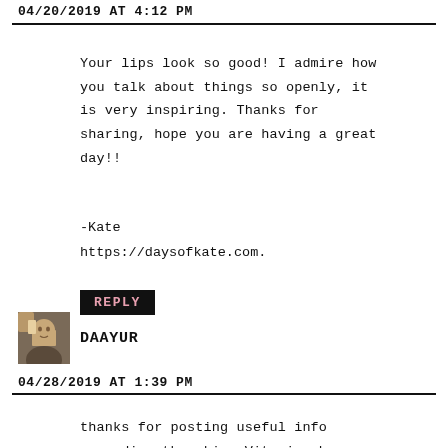04/20/2019 AT 4:12 PM
Your lips look so good! I admire how you talk about things so openly, it is very inspiring. Thanks for sharing, hope you are having a great day!!
-Kate
https://daysofkate.com.
REPLY
DAAYUR
04/28/2019 AT 1:39 PM
thanks for posting useful info regarding the skin. Vitamins have so